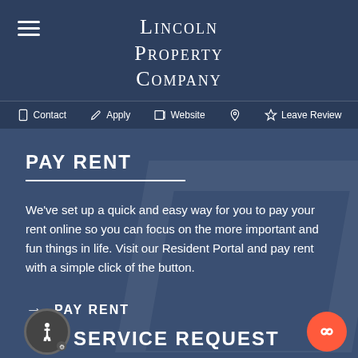Lincoln Property Company
Contact | Apply | Website | Leave Review
PAY RENT
We've set up a quick and easy way for you to pay your rent online so you can focus on the more important and fun things in life. Visit our Resident Portal and pay rent with a simple click of the button.
→ PAY RENT
SERVICE REQUEST